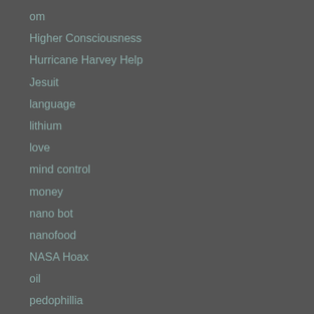om
Higher Consciousness
Hurricane Harvey Help
Jesuit
language
lithium
love
mind control
money
nano bot
nanofood
NASA Hoax
oil
pedophillia
Police brutality